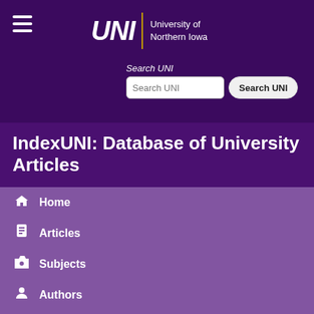[Figure (logo): University of Northern Iowa (UNI) logo with italic bold UNI text, gold divider, and university name]
IndexUNI: Database of University Articles
Home
Articles
Subjects
Authors
Publications
University Apartments